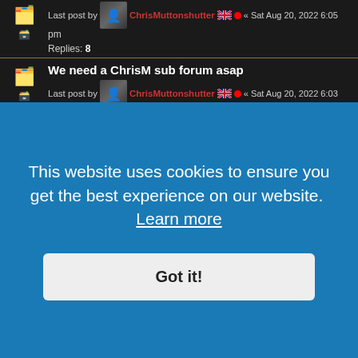Last post by ChrisMuttonshutter « Sat Aug 20, 2022 6:05 pm Replies: 8
We need a ChrisM sub forum asap
Last post by ChrisMuttonshutter « Sat Aug 20, 2022 6:03 pm
Replies: 1
ChrisMuttonshutter's short story thread
Last post by ChrisMuttonshutter « Fri Aug 19, 2022 5:05 pm
Replies: 322
Pages: 1 ... 14 15 16 17
THE Blog
Last post by ChrisMuttonshutter « Fri Aug 19, 2022 5:04 pm
This website uses cookies to ensure you get the best experience on our website. Learn more
Got it!